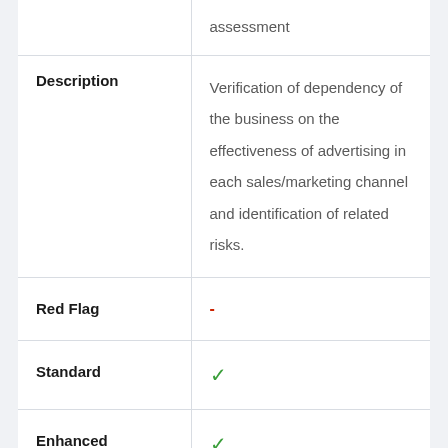|  | assessment |
| Description | Verification of dependency of the business on the effectiveness of advertising in each sales/marketing channel and identification of related risks. |
| Red Flag | - |
| Standard | ✓ |
| Enhanced | ✓ |